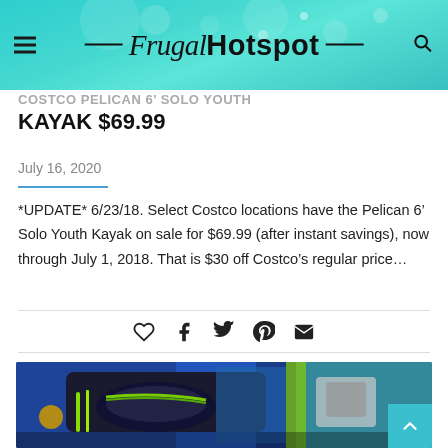Frugal Hotspot
KAYAK $69.99
July 16, 2020
*UPDATE* 6/23/18. Select Costco locations have the Pelican 6’ Solo Youth Kayak on sale for $69.99 (after instant savings), now through July 1, 2018. That is $30 off Costco’s regular price…
[Figure (photo): Close-up photo of a kayak with blue and neon green/yellow coloring, showing seat and zipper details]